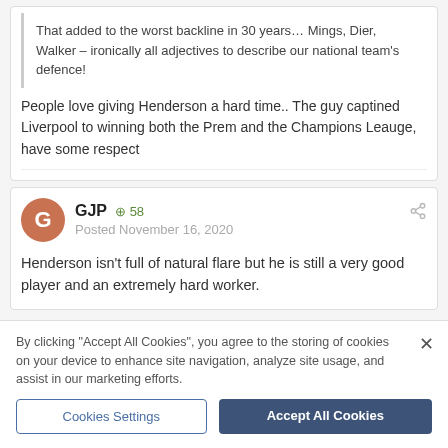That added to the worst backline in 30 years… Mings, Dier, Walker – ironically all adjectives to describe our national team's defence!
People love giving Henderson a hard time.. The guy captined Liverpool to winning both the Prem and the Champions Leauge, have some respect
GJP  +58  Posted November 16, 2020
Henderson isn't full of natural flare but he is still a very good player and an extremely hard worker.
By clicking "Accept All Cookies", you agree to the storing of cookies on your device to enhance site navigation, analyze site usage, and assist in our marketing efforts.